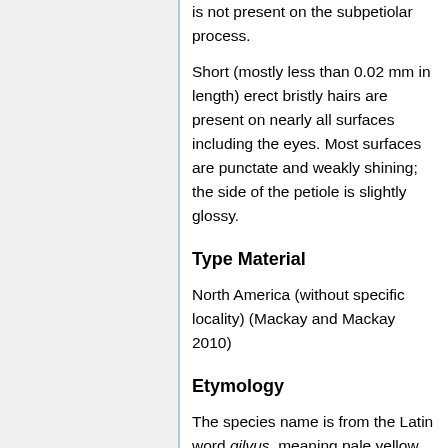is not present on the subpetiolar process.
Short (mostly less than 0.02 mm in length) erect bristly hairs are present on nearly all surfaces including the eyes. Most surfaces are punctate and weakly shining; the side of the petiole is slightly glossy.
Type Material
North America (without specific locality) (Mackay and Mackay 2010)
Etymology
The species name is from the Latin word gilvus, meaning pale yellow. Creighton and Tulloch (1930) pointed out the name is a misnomer as the specimens are dark brown. (Mackay and Mackay 2010)